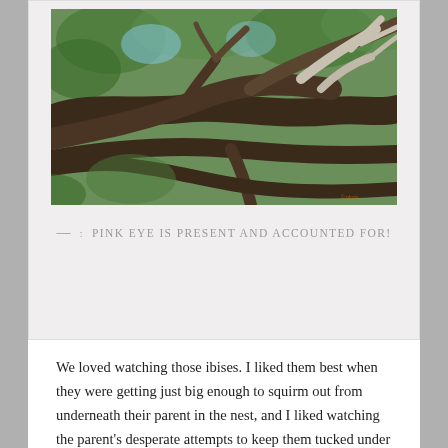[Figure (photo): Close-up photograph of tree branches with twisted, intertwined limbs against a green leafy background. The branches appear to be large and gnarled.]
— : PINK EYE IS PRESENT AND ACCOUNTED FOR!
We loved watching those ibises. I liked them best when they were getting just big enough to squirm out from underneath their parent in the nest, and I liked watching the parent's desperate attempts to keep them tucked under her/his body. They were so cute, with their black heads and small, black-and-pink–striped, curved beaks. Once the Thothlings were distinctive enough that I could tell them apart, I named them. At first I was worried that I might not be able to keep them straight because their coloration would continue to change, but I realized that they would be long gone from the rookery before that became a problem. Watching them explore their nest tree was always fun. Eventually that exploration changed to short flights to other trees, then flights above the rookery.